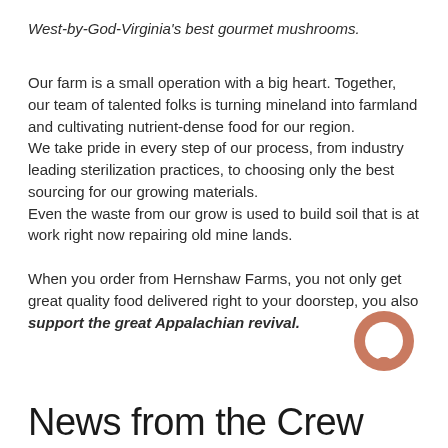West-by-God-Virginia's best gourmet mushrooms.
Our farm is a small operation with a big heart. Together, our team of talented folks is turning mineland into farmland and cultivating nutrient-dense food for our region.
We take pride in every step of our process, from industry leading sterilization practices, to choosing only the best sourcing for our growing materials.
Even the waste from our grow is used to build soil that is at work right now repairing old mine lands.
When you order from Hernshaw Farms, you not only get great quality food delivered right to your doorstep, you also support the great Appalachian revival.
[Figure (illustration): Chat bubble icon in terracotta/salmon color]
News from the Crew